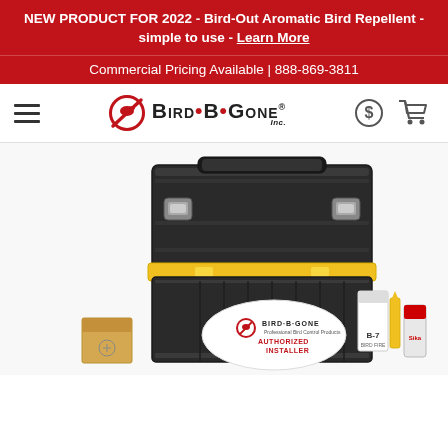NEW PRODUCT FOR 2022 - Bird-Out Aromatic Bird Repellent - simple to use - Learn More
Commercial Pricing Available | 888-869-3811
[Figure (logo): Bird-B-Gone logo with red no-bird circle icon and bold text BIRD•B•GONE Inc., hamburger menu icon on left, dollar sign icon and shopping cart icon on right]
[Figure (photo): Black and yellow tool/storage case (toolbox) stacked on a rolling cart, with Bird-B-Gone Professional Bird Control Products Authorized Installer label on lower case, and bird control products visible around it including B-7 product and Sika adhesive tube]